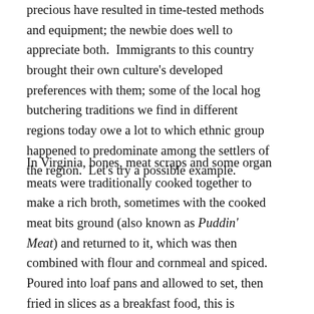precious have resulted in time-tested methods and equipment; the newbie does well to appreciate both.  Immigrants to this country brought their own culture's developed preferences with them; some of the local hog butchering traditions we find in different regions today owe a lot to which ethnic group happened to predominate among the settlers of the region.  Let's try a possible example.
In Virginia, bones, meat scraps and some organ meats were traditionally cooked together to make a rich broth, sometimes with the cooked meat bits ground (also known as Puddin' Meat) and returned to it, which was then combined with flour and cornmeal and spiced.  Poured into loaf pans and allowed to set, then fried in slices as a breakfast food, this is known as Ponhoss, sometimes given a more Germanic spelling, Pan Haus or Paun Haus (I've seen